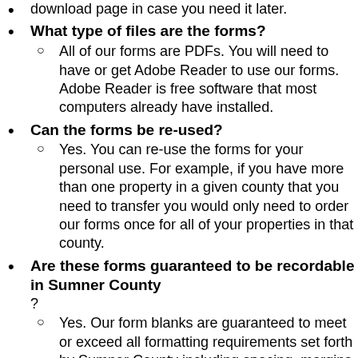download page in case you need it later.
What type of files are the forms?
All of our forms are PDFs. You will need to have or get Adobe Reader to use our forms. Adobe Reader is free software that most computers already have installed.
Can the forms be re-used?
Yes. You can re-use the forms for your personal use. For example, if you have more than one property in a given county that you need to transfer you would only need to order our forms once for all of your properties in that county.
Are these forms guaranteed to be recordable in Sumner County ?
Yes. Our form blanks are guaranteed to meet or exceed all formatting requirements set forth by Sumner County including spacing, margins, font size...